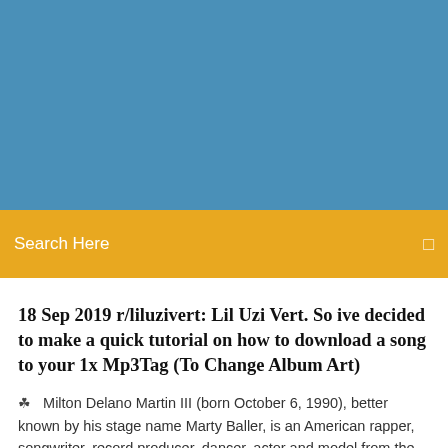[Figure (other): Blue background header area]
Search Here
18 Sep 2019 r/liluzivert: Lil Uzi Vert. So ive decided to make a quick tutorial on how to download a song to your 1x Mp3Tag (To Change Album Art)
Milton Delano Martin III (born October 6, 1990), better known by his stage name Marty Baller, is an American rapper, songwriter, record producer, dancer, actor and model from the Harlem neighborhood of Manhattan, New York.   |